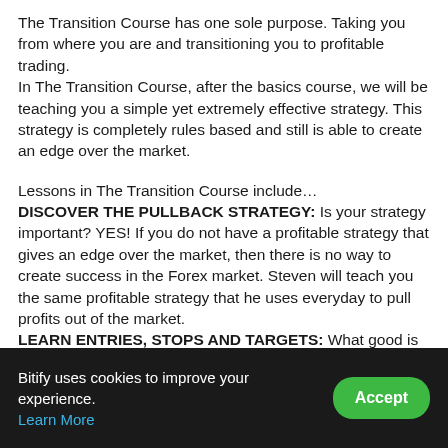The Transition Course has one sole purpose. Taking you from where you are and transitioning you to profitable trading. In The Transition Course, after the basics course, we will be teaching you a simple yet extremely effective strategy. This strategy is completely rules based and still is able to create an edge over the market.
Lessons in The Transition Course include… DISCOVER THE PULLBACK STRATEGY: Is your strategy important? YES! If you do not have a profitable strategy that gives an edge over the market, then there is no way to create success in the Forex market. Steven will teach you the same profitable strategy that he uses everyday to pull profits out of the market. LEARN ENTRIES, STOPS AND TARGETS: What good is a strategy without every aspect of it? You have probably tried to learn strategies that seem vague and do not include
Bitify uses cookies to improve your experience. Learn More